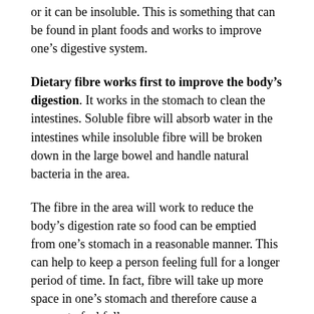or it can be insoluble. This is something that can be found in plant foods and works to improve one's digestive system.
Dietary fibre works first to improve the body's digestion. It works in the stomach to clean the intestines. Soluble fibre will absorb water in the intestines while insoluble fibre will be broken down in the large bowel and handle natural bacteria in the area.
The fibre in the area will work to reduce the body's digestion rate so food can be emptied from one's stomach in a reasonable manner. This can help to keep a person feeling full for a longer period of time. In fact, fibre will take up more space in one's stomach and therefore cause a person to feel full.
Also, constipation can be avoided when this is used. This comes from how fibre will improve the softness of the body's stools. The increase in water absorption and the